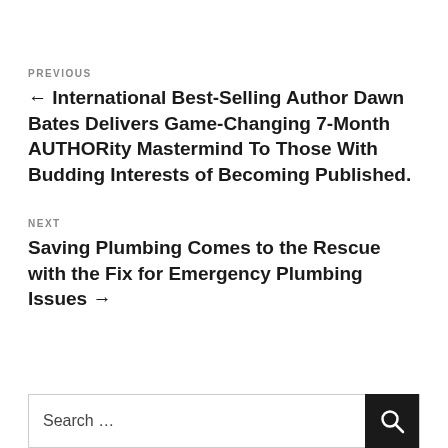PREVIOUS
← International Best-Selling Author Dawn Bates Delivers Game-Changing 7-Month AUTHORity Mastermind To Those With Budding Interests of Becoming Published.
NEXT
Saving Plumbing Comes to the Rescue with the Fix for Emergency Plumbing Issues →
Search …